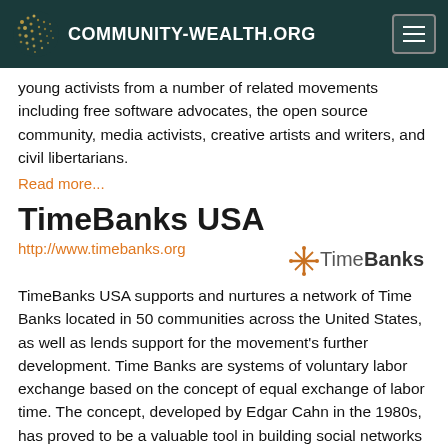COMMUNITY-WEALTH.ORG
young activists from a number of related movements including free software advocates, the open source community, media activists, creative artists and writers, and civil libertarians.
Read more...
TimeBanks USA
http://www.timebanks.org
[Figure (logo): TimeBanks logo with star/sparkle graphic and 'TimeBanks' text]
TimeBanks USA supports and nurtures a network of Time Banks located in 50 communities across the United States, as well as lends support for the movement's further development. Time Banks are systems of voluntary labor exchange based on the concept of equal exchange of labor time. The concept, developed by Edgar Cahn in the 1980s, has proved to be a valuable tool in building social networks and social capital.
Read more...